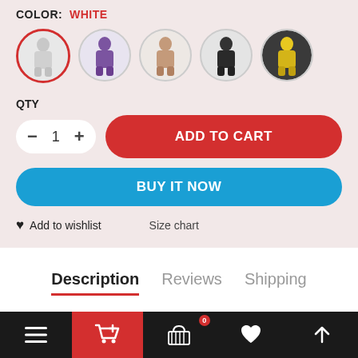COLOR: WHITE
[Figure (photo): Five circular color swatches showing ski suit product in white (selected, with red border), purple, tan/pink, black, and yellow colors]
QTY
[Figure (other): Quantity selector with minus button, value 1, plus button; and red ADD TO CART button]
[Figure (other): Blue BUY IT NOW button]
Add to wishlist
Size chart
Description
Reviews
Shipping
Bottom navigation bar with menu, cart (active/red), basket with 0 badge, heart, and up-arrow icons